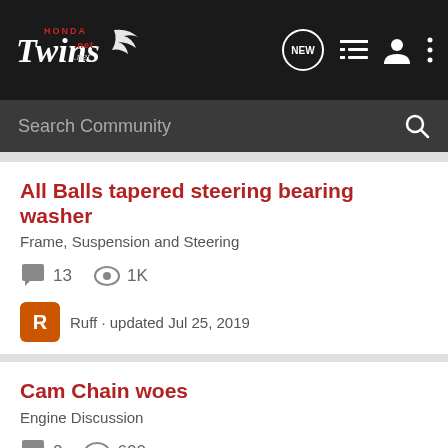HondaTwins.net - navigation header with search
All Balls tapered steering bearing washer
Frame, Suspension and Steering
13 replies · 1K views
Ruff · updated Jul 25, 2019
Cam Chain woes
Engine Discussion
2 replies · 600 views
misterguitar · updated Apr 16, 2019
[Figure (other): Advertisement banner placeholder with decorative dot pattern]